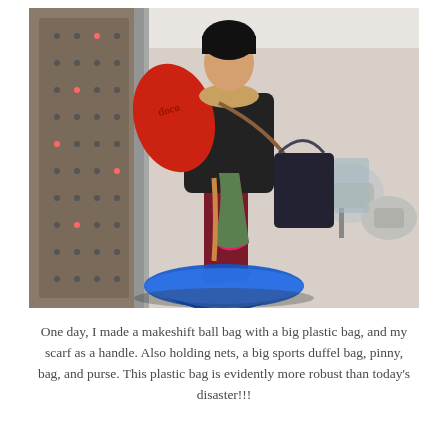[Figure (photo): A person standing in what appears to be an office hallway, carrying multiple bags: a large red duffel bag over the shoulder, a big black tote bag, a colorful pinny/bib, and dragging a large blue plastic bag on the floor used as a makeshift ball bag with a scarf as a handle.]
One day, I made a makeshift ball bag with a big plastic bag, and my scarf as a handle. Also holding nets, a big sports duffel bag, pinny, bag, and purse. This plastic bag is evidently more robust than today's disaster!!!